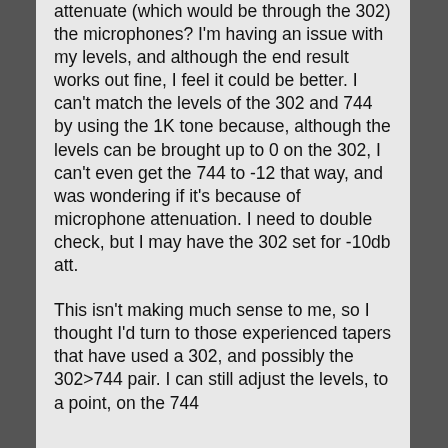attenuate (which would be through the 302) the microphones?  I'm having an issue with my levels, and although the end result works out fine, I feel it could be better.  I can't match the levels of the 302 and 744 by using the 1K tone because, although the levels can be brought up to 0 on the 302, I can't even get the 744 to -12 that way, and was wondering if it's because of microphone attenuation.  I need to double check, but I may have the 302 set for -10db att.
This isn't making much sense to me, so I thought I'd turn to those experienced tapers that have used a 302, and possibly the 302>744 pair.  I can still adjust the levels, to a point, on the 744